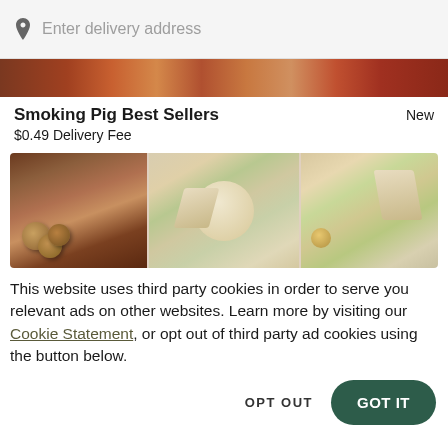Enter delivery address
[Figure (photo): Partially cropped food photo strip at top of page, showing grilled/barbecue foods]
Smoking Pig Best Sellers
$0.49 Delivery Fee
New
[Figure (photo): Wide food photo showing three sections: fried falafel balls on the left, pita bread with hummus and salad in the center, and pita with chickpeas and herbs on the right]
This website uses third party cookies in order to serve you relevant ads on other websites. Learn more by visiting our Cookie Statement, or opt out of third party ad cookies using the button below.
OPT OUT
GOT IT